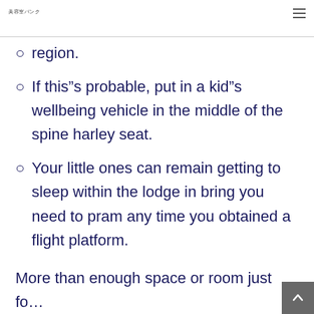美容室バンク
region.
If this"s probable, put in a kid"s wellbeing vehicle in the middle of the spine harley seat.
Your little ones can remain getting to sleep within the lodge in bring you need to pram any time you obtained a flight platform.
More than enough space or room just fo... kids... The latest...